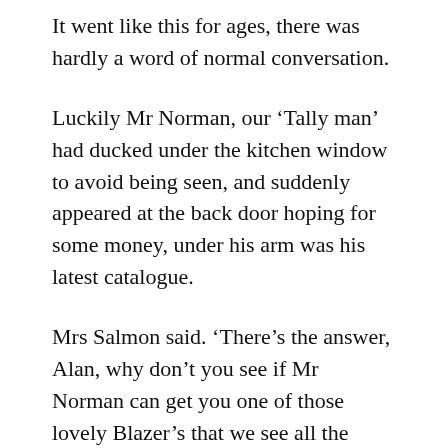It went like this for ages, there was hardly a word of normal conversation.
Luckily Mr Norman, our ‘Tally man’ had ducked under the kitchen window to avoid being seen, and suddenly appeared at the back door hoping for some money, under his arm was his latest catalogue.
Mrs Salmon said. ‘There’s the answer, Alan, why don’t you see if Mr Norman can get you one of those lovely Blazer’s that we see all the time, you know with the silver buttons.’
My mother, bless her, said.
‘The problem with me with the time, you can’ s